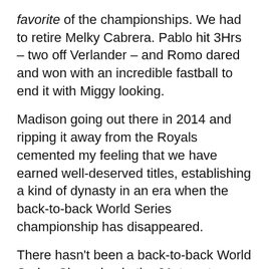favorite of the championships. We had to retire Melky Cabrera. Pablo hit 3Hrs – two off Verlander – and Romo dared and won with an incredible fastball to end it with Miggy looking.
Madison going out there in 2014 and ripping it away from the Royals cemented my feeling that we have earned well-deserved titles, establishing a kind of dynasty in an era when the back-to-back World Series championship has disappeared.
There hasn't been a back-to-back World Series Champion in the 21st century. So for me, this ain't torture any more, it's working the details.
But enough about torture, lets get to
The first GBC Reader of the year: